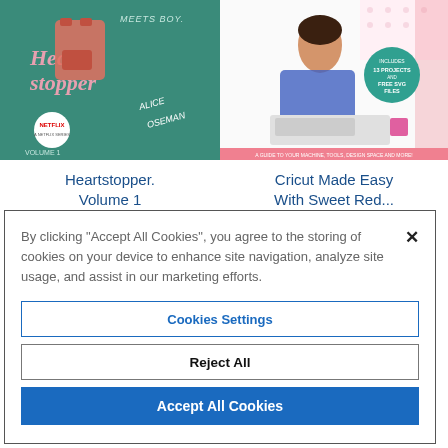[Figure (photo): Book cover: Heartstopper Volume 1 by Alice Oseman, green illustrated cover with Netflix series badge]
[Figure (photo): Book cover: Cricut Made Easy With Sweet Red Poppy, woman at crafting table with Cricut machine]
Heartstopper. Volume 1
Cricut Made Easy With Sweet Red...
By clicking “Accept All Cookies”, you agree to the storing of cookies on your device to enhance site navigation, analyze site usage, and assist in our marketing efforts.
Cookies Settings
Reject All
Accept All Cookies